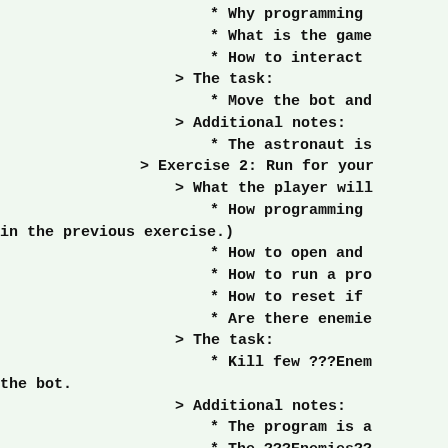* Why programming
* What is the game
* How to interact
> The task:
* Move the bot and
> Additional notes:
* The astronaut is
> Exercise 2: Run for your
> What the player will
* How programming
in the previous exercise.)
* How to open and
* How to run a pro
* How to reset if
* Are there enemie
> The task:
* Kill few ???Enem
the bot.
> Additional notes:
* The program is a
* The ???Enemies??
astronaut are almost instruc
"panick mode" in the player).